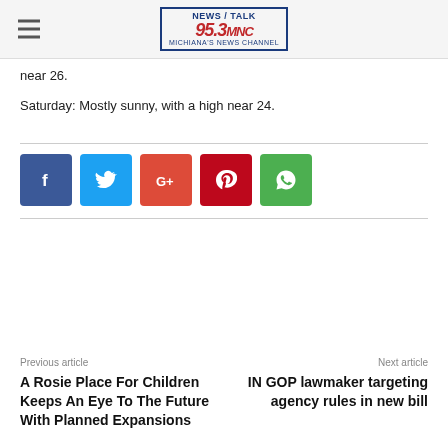NEWS/TALK 95.3 MNC MICHIANA'S NEWS CHANNEL
near 26.
Saturday: Mostly sunny, with a high near 24.
[Figure (infographic): Row of social media share buttons: Facebook (blue), Twitter (cyan), Google+ (orange-red), Pinterest (dark red), WhatsApp (green)]
Previous article
Next article
A Rosie Place For Children Keeps An Eye To The Future With Planned Expansions
IN GOP lawmaker targeting agency rules in new bill